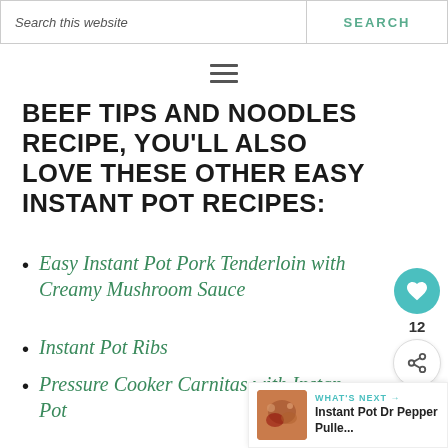Search this website  SEARCH
[Figure (other): Hamburger menu icon (three horizontal lines)]
BEEF TIPS AND NOODLES RECIPE, YOU'LL ALSO LOVE THESE OTHER EASY INSTANT POT RECIPES:
Easy Instant Pot Pork Tenderloin with Creamy Mushroom Sauce
Instant Pot Ribs
Pressure Cooker Carnitas with Instant Pot
[Figure (other): Social share widget with heart/like button (teal circle, heart icon), count 12, and share button]
[Figure (other): What's Next bar showing thumbnail image and text: WHAT'S NEXT → Instant Pot Dr Pepper Pulle...]